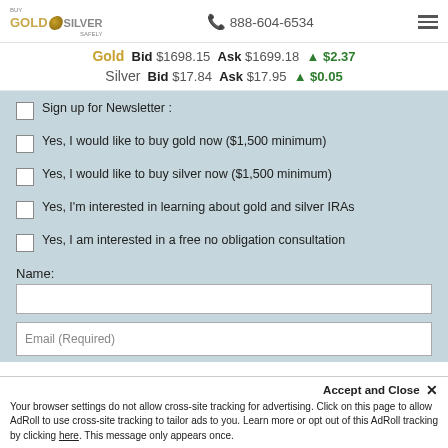Buy Gold & Silver Safely — 888-604-6534
Gold Bid $1698.15 Ask $1699.18 ▲ $2.37
Silver Bid $17.84 Ask $17.95 ▲ $0.05
Sign up for Newsletter :
Yes, I would like to buy gold now ($1,500 minimum)
Yes, I would like to buy silver now ($1,500 minimum)
Yes, I'm interested in learning about gold and silver IRAs
Yes, I am interested in a free no obligation consultation
Name:
Email (Required)
Accept and Close ✕
Your browser settings do not allow cross-site tracking for advertising. Click on this page to allow AdRoll to use cross-site tracking to tailor ads to you. Learn more or opt out of this AdRoll tracking by clicking here. This message only appears once.